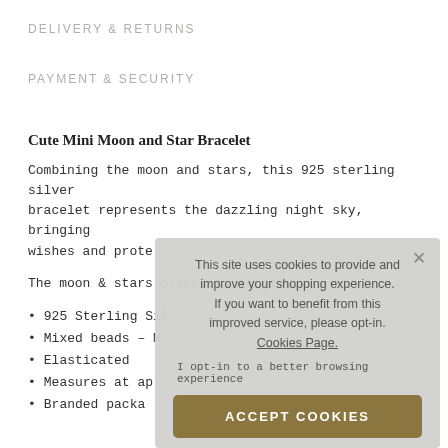DELIVERY & RETURNS
PAYMENT & SECURITY
Cute Mini Moon and Star Bracelet
Combining the moon and stars, this 925 sterling silver bracelet represents the dazzling night sky, bringing wishes and prote
The moon & stars bracelet, to give
925 Sterling Sil
Mixed beads –
Elasticated
Measures at ap
Branded packa
This site uses cookies to provide and improve your shopping experience. If you want to benefit from this improved service, please opt-in. Cookies Page.

I opt-in to a better browsing experience

ACCEPT COOKIES